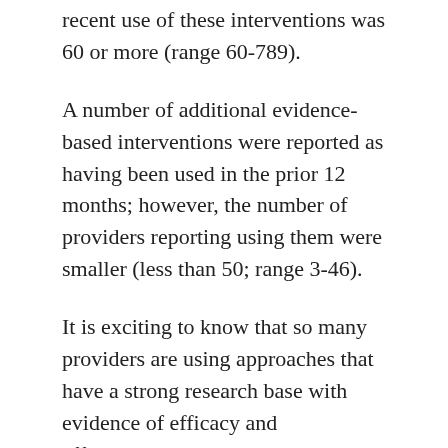recent use of these interventions was 60 or more (range 60-789).
A number of additional evidence-based interventions were reported as having been used in the prior 12 months; however, the number of providers reporting using them were smaller (less than 50; range 3-46).
It is exciting to know that so many providers are using approaches that have a strong research base with evidence of efficacy and effectiveness. Providing high quality services to all clients is one way that we can do our part to minimize known inequities in care and health disparities.